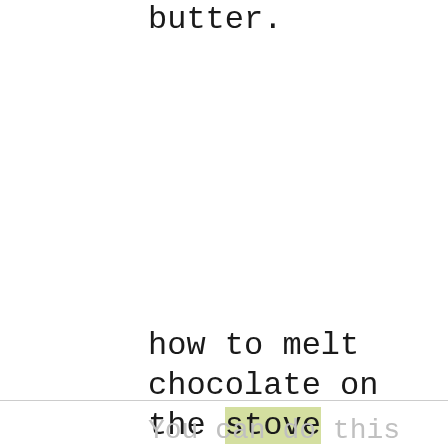chocolate with a bit of butter.
how to melt chocolate on the stove
You can do this over a